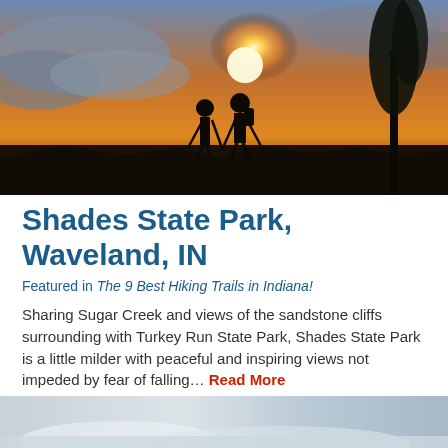[Figure (photo): Silhouette of two hikers with trekking poles standing on a rocky outcrop against a bright sunset sky with orange glow and dramatic clouds]
Shades State Park, Waveland, IN
Featured in The 9 Best Hiking Trails in Indiana!
Sharing Sugar Creek and views of the sandstone cliffs surrounding with Turkey Run State Park, Shades State Park is a little milder with peaceful and inspiring views not impeded by fear of falling… Read More
[Figure (photo): Partial view of another location photo at the bottom of the page, cut off]